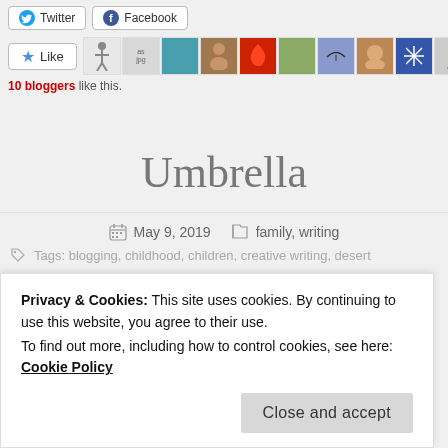[Figure (screenshot): Share buttons for Twitter and Facebook, a Like button with star icon, a row of blogger avatar thumbnails, and text showing '10 bloggers like this.']
10 bloggers like this.
Umbrella
May 9, 2019   family, writing
Tags: blogging, childhood, children, creative writing, desert
Privacy & Cookies: This site uses cookies. By continuing to use this website, you agree to their use.
To find out more, including how to control cookies, see here: Cookie Policy
Close and accept